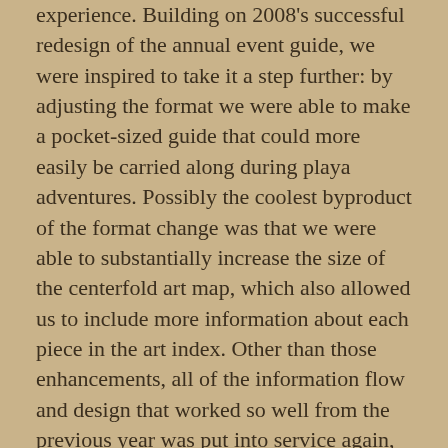experience. Building on 2008's successful redesign of the annual event guide, we were inspired to take it a step further: by adjusting the format we were able to make a pocket-sized guide that could more easily be carried along during playa adventures. Possibly the coolest byproduct of the format change was that we were able to substantially increase the size of the centerfold art map, which also allowed us to include more information about each piece in the art index. Other than those enhancements, all of the information flow and design that worked so well from the previous year was put into service again, with great results.
While print pieces are inherently static once they are produced, our relationship with the role and function of print projects is not. As we go forward we continually evaluate the purpose of our communications and the best vehicles for those messages. As in 2008, we again